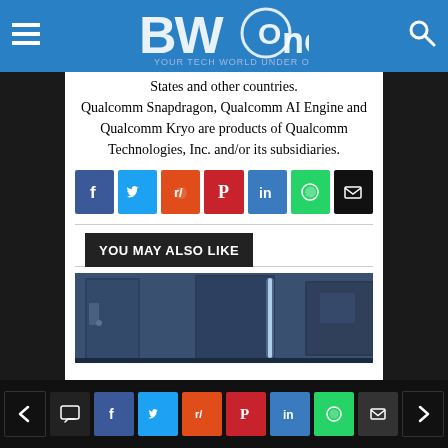BWOne - Your Tech World Under One Roof
States and other countries. Qualcomm Snapdragon, Qualcomm AI Engine and Qualcomm Kryo are products of Qualcomm Technologies, Inc. and/or its subsidiaries.
[Figure (infographic): Social share buttons row: Facebook (blue), Twitter (light blue), Reddit (orange-red), Pinterest (red), LinkedIn (blue), WhatsApp (green), Email (black)]
YOU MAY ALSO LIKE
[Figure (photo): Preview image of a room interior with blue/dark tones, appears to show doors and a glowing vertical light element]
Navigation bar with previous arrow, comment icon, and social share buttons: Facebook, Twitter, Reddit, Pinterest, LinkedIn, WhatsApp, Email, and next arrow